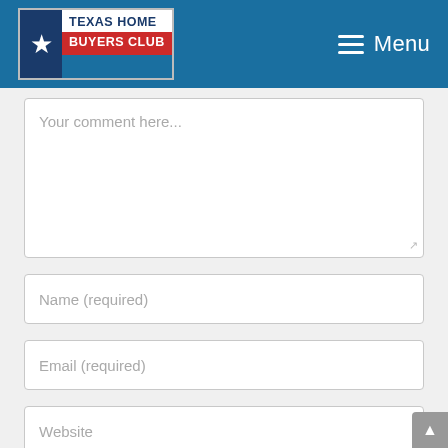Texas Home Buyers Club — Menu
Your comment here...
Name (required)
Email (required)
Website